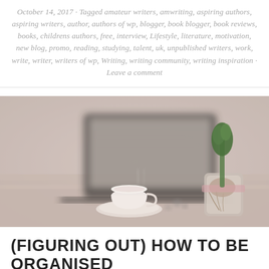October 14, 2017 · Tagged amateur writers, amwriting, aspiring authors, aspiring writers, author, authors of wp, blogger, book blogger, book reviews, books, childrens authors, free, interview, Lifestyle, literature, motivation, new blog, promo, reading, studying, talent, uk, unpublished writers, work, write, writer, writers of wp, Writing, writing community, writing inspiration · Leave a comment
[Figure (photo): A cozy writing desk scene with a white teacup on a saucer, an open laptop in the background, a green hyacinth plant in a glass jar, and scattered small objects on a lace tablecloth. Photo is softly blurred with muted warm tones.]
(FIGURING OUT) HOW TO BE ORGANISED